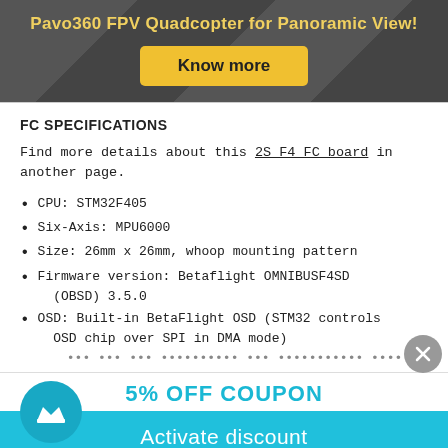Pavo360 FPV Quadcopter for Panoramic View!
Know more
FC SPECIFICATIONS
Find more details about this 2S F4 FC board in another page.
CPU: STM32F405
Six-Axis: MPU6000
Size: 26mm x 26mm, whoop mounting pattern
Firmware version: Betaflight OMNIBUSF4SD (OBSD) 3.5.0
OSD: Built-in BetaFlight OSD (STM32 controls OSD chip over SPI in DMA mode)
5% OFF COUPON
Activate discount